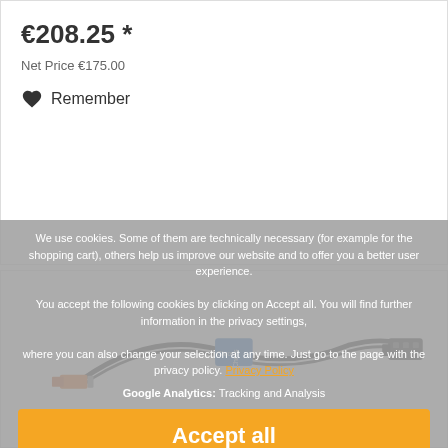€208.25 *
Net Price €175.00
Remember
[Figure (photo): Product image showing a cable with blue Chronos label/band, orange connector on one end and black connector on the other end]
We use cookies. Some of them are technically necessary (for example for the shopping cart), others help us improve our website and to offer you a better user experience. You accept the following cookies by clicking on Accept all. You will find further information in the privacy settings, where you can also change your selection at any time. Just go to the page with the privacy policy. Privacy Policy
Google Analytics: Tracking and Analysis
Accept all
Accept only technically necessary
Privacy Policy Settings